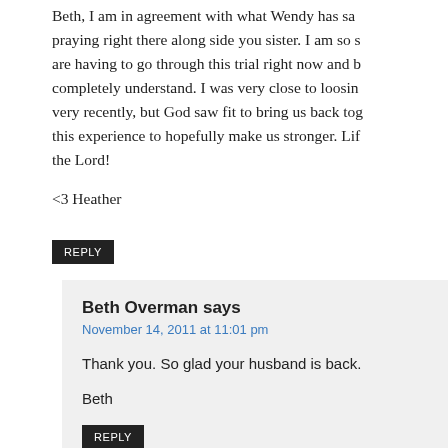Beth, I am in agreement with what Wendy has sa... praying right there along side you sister. I am so s... are having to go through this trial right now and be... completely understand. I was very close to loosing... very recently, but God saw fit to bring us back toge... this experience to hopefully make us stronger. Lift... the Lord!
<3 Heather
REPLY
Beth Overman says
November 14, 2011 at 11:01 pm
Thank you. So glad your husband is back.
Beth
REPLY